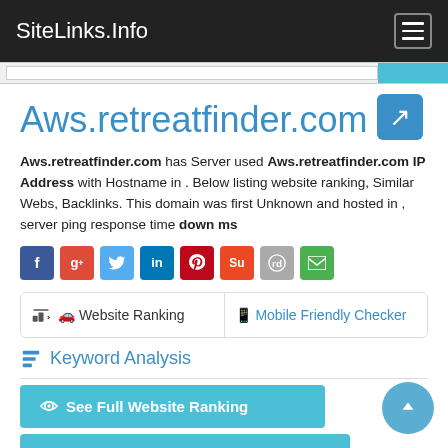SiteLinks.Info
Aws.retreatfinder.com
Aws.retreatfinder.com has Server used Aws.retreatfinder.com IP Address with Hostname in . Below listing website ranking, Similar Webs, Backlinks. This domain was first Unknown and hosted in , server ping response time down ms
[Figure (infographic): Social sharing icon buttons: Facebook, Google+, Twitter, LinkedIn, Pinterest, StumbleUpon, Reddit, Email]
Website Ranking | Mobile Friendly Checker
Keyword Analysis
See Full Website Ranking
Top 500,000 Alexa Ranking